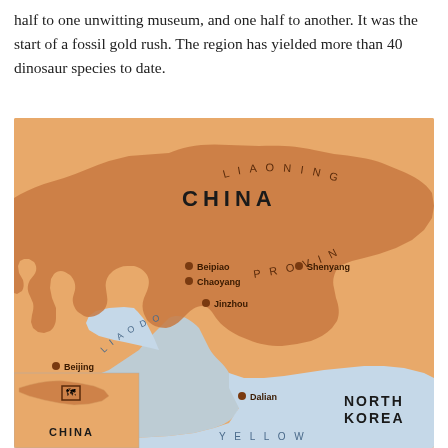half to one unwitting museum, and one half to another. It was the start of a fossil gold rush. The region has yielded more than 40 dinosaur species to date.
[Figure (map): Map showing Liaoning Province in northeastern China, with labeled cities Beipiao, Chaoyang, Jinzhou, Shenyang, Dalian, and Beijing. Shows Liaodong Bay (water body in light blue), and labels for China, Liaoning Province, North Korea, and Yellow Sea. Inset map in bottom-left corner shows location context with China label.]